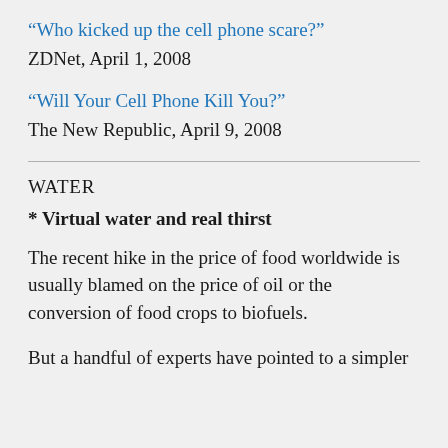“Who kicked up the cell phone scare?”
ZDNet, April 1, 2008
“Will Your Cell Phone Kill You?”
The New Republic, April 9, 2008
WATER
* Virtual water and real thirst
The recent hike in the price of food worldwide is usually blamed on the price of oil or the conversion of food crops to biofuels.
But a handful of experts have pointed to a simpler